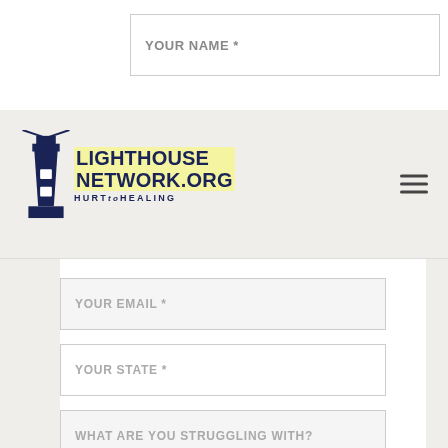YOUR NAME *
[Figure (logo): Lighthouse Network.org HURT to HEALING logo with lighthouse icon]
YOUR EMAIL *
YOUR STATE *
WHAT ARE YOU STRUGGLING WITH?
WHAT ARE YOU LOOKING FOR?
By submitting this webform I agree to receiving calls and emails from Lighthouse Network
FIND HELP